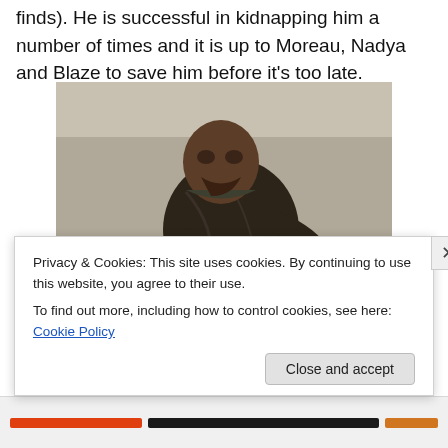finds). He is successful in kidnapping him a number of times and it is up to Moreau, Nadya and Blaze to save him before it's too late.
[Figure (photo): A man in a dark brown leather jacket leaning forward on a motorcycle, photographed outdoors with a blurred yellow barrier in the background.]
Privacy & Cookies: This site uses cookies. By continuing to use this website, you agree to their use. To find out more, including how to control cookies, see here: Cookie Policy
Close and accept